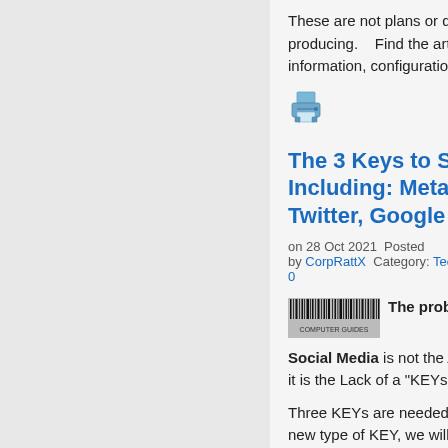These are not plans or dreams, but products we are producing.    Find the article on the Gordo-8 to get further information, configuration and pricing.
[Figure (illustration): Printer icon]
The 3 Keys to Safe Social Media - Including: Meta (Facebook), LinkedIn, Twitter, Google and all the rest. :)
on 28 Oct 2021  Posted by CorpRattX  Category: Technology  Comments: 0
The problem with Facebook and other Social Media is not the Algorithm, the extremists, or the hackers - it is the Lack of a "KEYs. "
Three KEYs are needed: better Architecture, better Filters, and a new type of KEY, we will call a "Facts Table." (more on that below)
First Key is better Architecture.
Second Key is better Filters